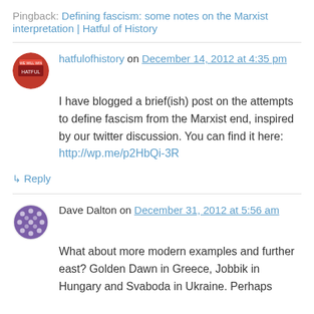Pingback: Defining fascism: some notes on the Marxist interpretation | Hatful of History
hatfulofhistory on December 14, 2012 at 4:35 pm
I have blogged a brief(ish) post on the attempts to define fascism from the Marxist end, inspired by our twitter discussion. You can find it here: http://wp.me/p2HbQi-3R
↳ Reply
Dave Dalton on December 31, 2012 at 5:56 am
What about more modern examples and further east? Golden Dawn in Greece, Jobbik in Hungary and Svaboda in Ukraine. Perhaps